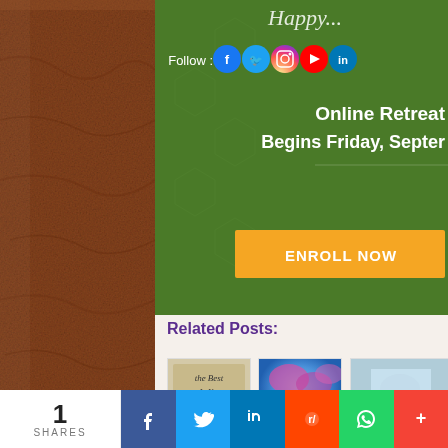[Figure (screenshot): Dark brown leather texture sidebar on left]
[Figure (infographic): Green banner with Follow social media icons (Facebook, Twitter, Instagram, YouTube, LinkedIn) and text 'Online Retreat Begins Friday, September' with orange ENROLL NOW button]
Related Posts:
[Figure (photo): Calligraphy/lettering art reading 'The Best Is Yet To Come']
Making Room for Inspiration
[Figure (photo): Colorful abstract art with blue and pink colors, person with arms raised]
Not Interested in Crazy Anymore
[Figure (photo): Spiritual themed photo, partially visible]
Spiritual F...
1 SHARES | Facebook | Twitter | LinkedIn | Reddit | WhatsApp | More